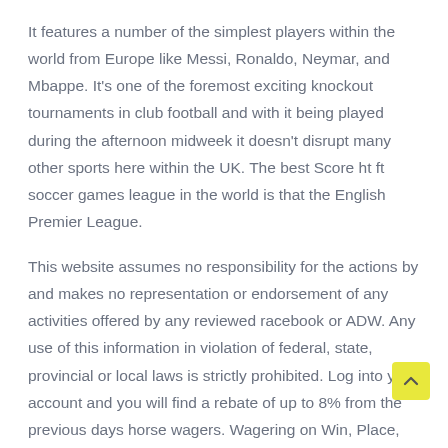It features a number of the simplest players within the world from Europe like Messi, Ronaldo, Neymar, and Mbappe. It's one of the foremost exciting knockout tournaments in club football and with it being played during the afternoon midweek it doesn't disrupt many other sports here within the UK. The best Score ht ft soccer games league in the world is that the English Premier League.
This website assumes no responsibility for the actions by and makes no representation or endorsement of any activities offered by any reviewed racebook or ADW. Any use of this information in violation of federal, state, provincial or local laws is strictly prohibited. Log into your account and you will find a rebate of up to 8% from the previous days horse wagers. Wagering on Win, Place, Show, or Exotics will earn you a rebate. If we bet say 20 numb then we may be making bets that are actually unprofitable.